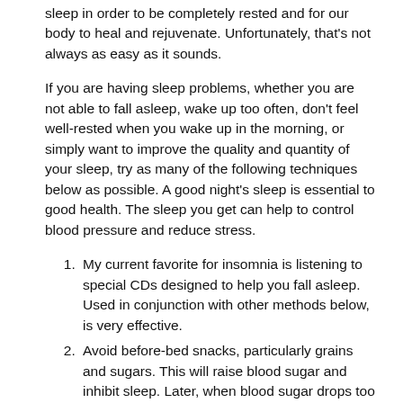sleep in order to be completely rested and for our body to heal and rejuvenate. Unfortunately, that's not always as easy as it sounds.
If you are having sleep problems, whether you are not able to fall asleep, wake up too often, don't feel well-rested when you wake up in the morning, or simply want to improve the quality and quantity of your sleep, try as many of the following techniques below as possible. A good night's sleep is essential to good health. The sleep you get can help to control blood pressure and reduce stress.
My current favorite for insomnia is listening to special CDs designed to help you fall asleep. Used in conjunction with other methods below, is very effective.
Avoid before-bed snacks, particularly grains and sugars. This will raise blood sugar and inhibit sleep. Later, when blood sugar drops too low (hypoglycemia), you might wake up and not be able to fall back asleep.
Sleep in complete darkness or as close as possible. When